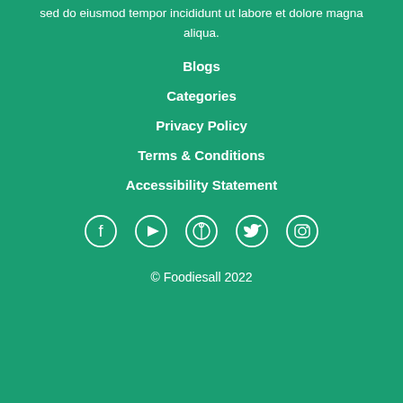sed do eiusmod tempor incididunt ut labore et dolore magna aliqua.
Blogs
Categories
Privacy Policy
Terms & Conditions
Accessibility Statement
[Figure (illustration): Social media icons: Facebook, YouTube, Pinterest, Twitter, Instagram — white outlined circles on green background]
© Foodiesall 2022